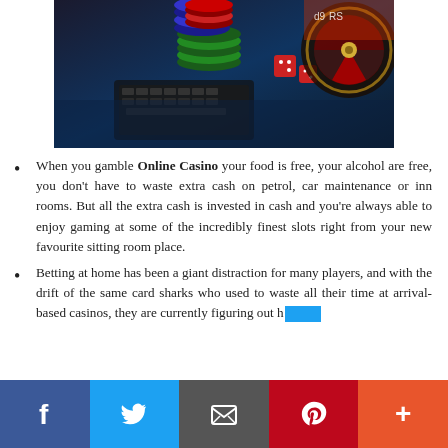[Figure (photo): Casino chips stacked on a laptop keyboard with dice and a roulette wheel in the background, dark blue lighting]
When you gamble Online Casino your food is free, your alcohol are free, you don't have to waste extra cash on petrol, car maintenance or inn rooms. But all the extra cash is invested in cash and you're always able to enjoy gaming at some of the incredibly finest slots right from your new favourite sitting room place.
Betting at home has been a giant distraction for many players, and with the drift of the same card sharks who used to waste all their time at arrival-based casinos, they are currently figuring out h…